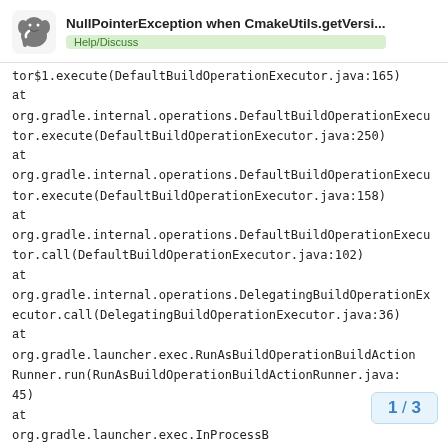NullPointerException when CmakeUtils.getVersi... Help/Discuss
tor$1.execute(DefaultBuildOperationExecutor.java:165)
at
org.gradle.internal.operations.DefaultBuildOperationExecutor.execute(DefaultBuildOperationExecutor.java:250)
at
org.gradle.internal.operations.DefaultBuildOperationExecutor.execute(DefaultBuildOperationExecutor.java:158)
at
org.gradle.internal.operations.DefaultBuildOperationExecutor.call(DefaultBuildOperationExecutor.java:102)
at
org.gradle.internal.operations.DelegatingBuildOperationExecutor.call(DelegatingBuildOperationExecutor.java:36)
at
org.gradle.launcher.exec.RunAsBuildOperationBuildActionRunner.run(RunAsBuildOperationBuildActionRunner.java:45)
at
org.gradle.launcher.exec.InProcessB